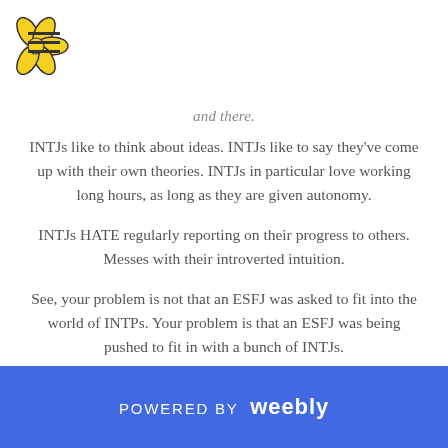[flower logo and hamburger menu]
and there.
INTJs like to think about ideas. INTJs like to say they've come up with their own theories. INTJs in particular love working long hours, as long as they are given autonomy.
INTJs HATE regularly reporting on their progress to others. Messes with their introverted intuition.
See, your problem is not that an ESFJ was asked to fit into the world of INTPs. Your problem is that an ESFJ was being pushed to fit in with a bunch of INTJs.
REPLY
POWERED BY weebly